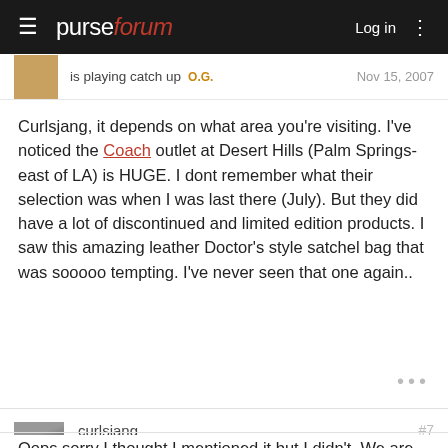purseforum — Log in
is playing catch up  O.G.    Nov 15, 2007
Curlsjang, it depends on what area you're visiting. I've noticed the Coach outlet at Desert Hills (Palm Springs- east of LA) is HUGE. I dont remember what their selection was when I was last there (July). But they did have a lot of discontinued and limited edition products. I saw this amazing leather Doctor's style satchel bag that was sooooo tempting. I've never seen that one again..
•••
curlsjang  #7
Member  Nov 15, 2007
Oops sorry I thought I mentioned it but I didn't. We are going to